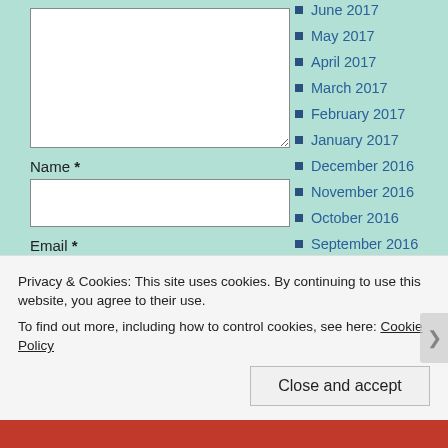Name *
Email *
Website
Post Comment
June 2017
May 2017
April 2017
March 2017
February 2017
January 2017
December 2016
November 2016
October 2016
September 2016
August 2016
July 2016
Privacy & Cookies: This site uses cookies. By continuing to use this website, you agree to their use. To find out more, including how to control cookies, see here: Cookie Policy
Close and accept